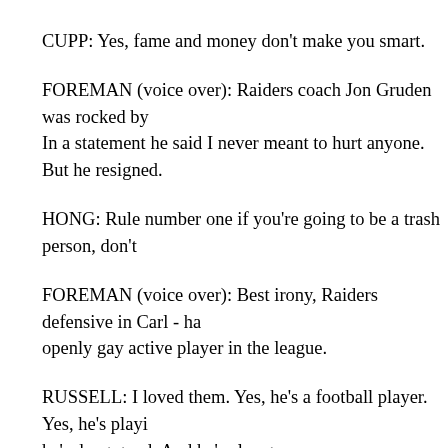CUPP: Yes, fame and money don't make you smart.
FOREMAN (voice over): Raiders coach Jon Gruden was rocked by. In a statement he said I never meant to hurt anyone. But he resigned.
HONG: Rule number one if you're going to be a trash person, don't
FOREMAN (voice over): Best irony, Raiders defensive in Carl - ha openly gay active player in the league.
RUSSELL: I loved them. Yes, he's a football player. Yes, he's playi he's dang good. And he's also gay.
FOREMAN (voice over): In baseball, the best team was the Atlanta Houston Astros in the World Series. But the best play at the plate ca